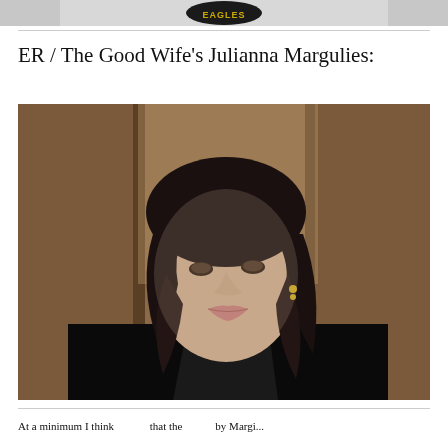[Figure (photo): Partial top image showing a sports jersey with an eagle logo, cropped at the top of the page]
ER / The Good Wife's Julianna Margulies:
[Figure (photo): Portrait photograph of Julianna Margulies, a dark-haired woman in a black blazer, photographed in front of a wooden background]
At a minimum I think...that the...by Margi...